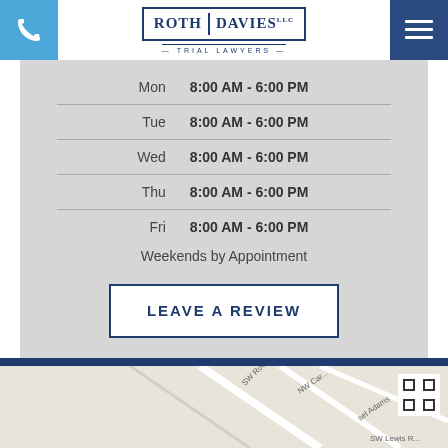[Figure (logo): Roth Davies LLC Trial Lawyers logo with phone icon button and hamburger menu button]
| Mon | 8:00 AM - 6:00 PM |
| Tue | 8:00 AM - 6:00 PM |
| Wed | 8:00 AM - 6:00 PM |
| Thu | 8:00 AM - 6:00 PM |
| Fri | 8:00 AM - 6:00 PM |
| Weekends by Appointment |  |
LEAVE A REVIEW
[Figure (map): Street map showing location near SW Roosevelt Rd, SW Lewis Rd, and NW Car area]